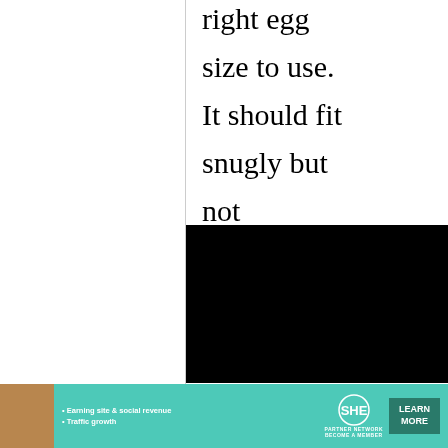right egg size to use. It should fit snugly but not
[Figure (other): Black rectangle covering part of the page content]
"L" size but
[Figure (other): Advertisement banner: SHE Partner Network - Earning site & social revenue, Traffic growth. Learn More button.]